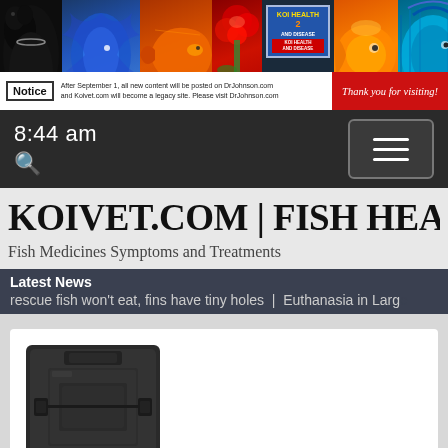[Figure (photo): Website header banner with fish and animal photos including a black dog, colorful tropical fish (blue, orange, red), flowers, and a book titled KOI HEALTH AND DISEASE 2]
Notice  After September 1, all new content will be posted on DrJohnson.com and Koivet.com will become a legacy site. Please visit DrJohnson.com
Thank you for visiting!
8:44 am
[Figure (screenshot): Hamburger menu button (three horizontal lines) in a rounded rectangle]
🔍
KOIVET.COM | FISH HEALTH | K
Fish Medicines Symptoms and Treatments
Latest News
rescue fish won't eat, fins have tiny holes  |  Euthanasia in Large
[Figure (photo): Product image of a dark grey/black plastic case or box, appears to be a carrying case or equipment case]